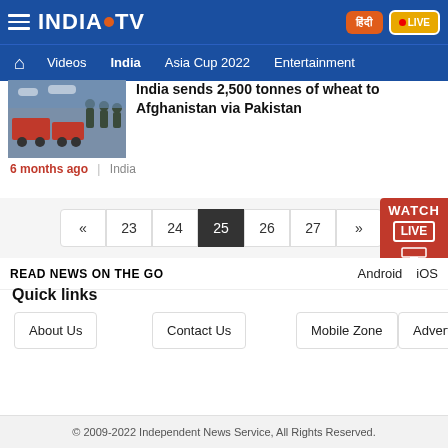INDIA TV — Navigation: Videos, India, Asia Cup 2022, Entertainment
[Figure (screenshot): Thumbnail image of military personnel with trucks]
India sends 2,500 tonnes of wheat to Afghanistan via Pakistan
6 months ago | India
Pagination: « 23 24 25 26 27 »
READ NEWS ON THE GO    Android    iOS
Quick links
About Us
Contact Us
Mobile Zone
Advertise
© 2009-2022 Independent News Service, All Rights Reserved.